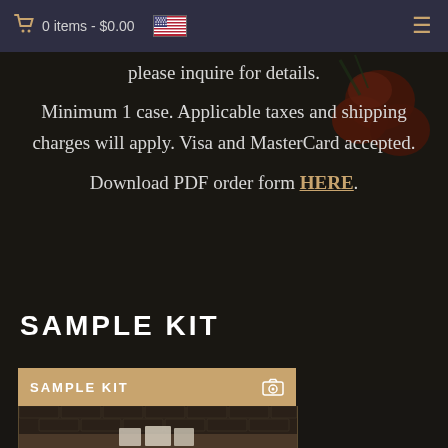0 items - $0.00
please inquire for details.

Minimum 1 case. Applicable taxes and shipping charges will apply. Visa and MasterCard accepted.

Download PDF order form HERE.
SAMPLE KIT
[Figure (photo): Product card with tan/brown header bar labeled 'SAMPLE KIT' with camera icon, showing a brick wall and wooden shelf product display photo below]